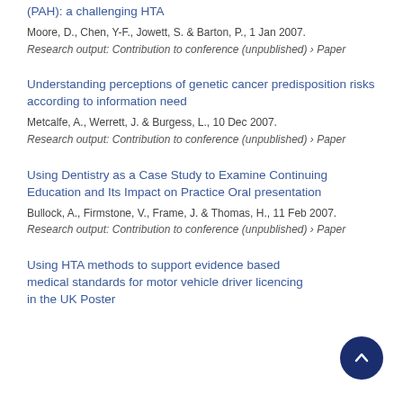(PAH): a challenging HTA
Moore, D., Chen, Y-F., Jowett, S. & Barton, P., 1 Jan 2007.
Research output: Contribution to conference (unpublished) › Paper
Understanding perceptions of genetic cancer predisposition risks according to information need
Metcalfe, A., Werrett, J. & Burgess, L., 10 Dec 2007.
Research output: Contribution to conference (unpublished) › Paper
Using Dentistry as a Case Study to Examine Continuing Education and Its Impact on Practice Oral presentation
Bullock, A., Firmstone, V., Frame, J. & Thomas, H., 11 Feb 2007.
Research output: Contribution to conference (unpublished) › Paper
Using HTA methods to support evidence based medical standards for motor vehicle driver licencing in the UK Poster